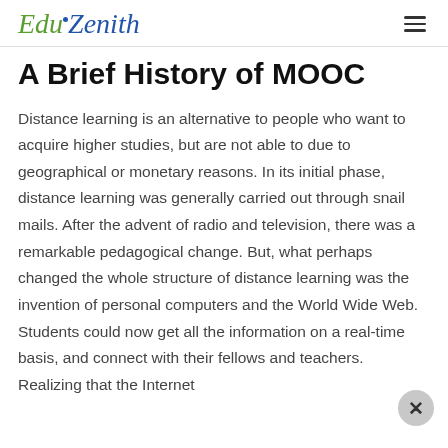EduZenith
A Brief History of MOOC
Distance learning is an alternative to people who want to acquire higher studies, but are not able to due to geographical or monetary reasons. In its initial phase, distance learning was generally carried out through snail mails. After the advent of radio and television, there was a remarkable pedagogical change. But, what perhaps changed the whole structure of distance learning was the invention of personal computers and the World Wide Web. Students could now get all the information on a real-time basis, and connect with their fellows and teachers. Realizing that the Internet